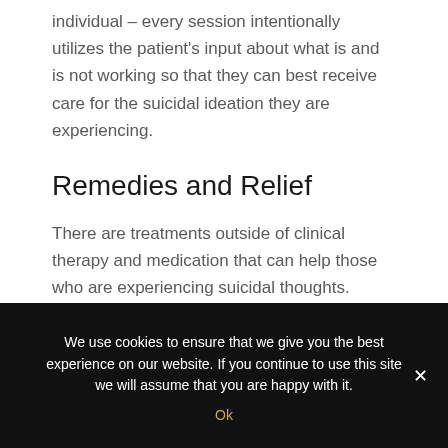individual – every session intentionally utilizes the patient's input about what is and is not working so that they can best receive care for the suicidal ideation they are experiencing.
Remedies and Relief
There are treatments outside of clinical therapy and medication that can help those who are experiencing suicidal thoughts. These are not primary interventions but can be utilized in addition to clinical treatments.
We use cookies to ensure that we give you the best experience on our website. If you continue to use this site we will assume that you are happy with it. Ok